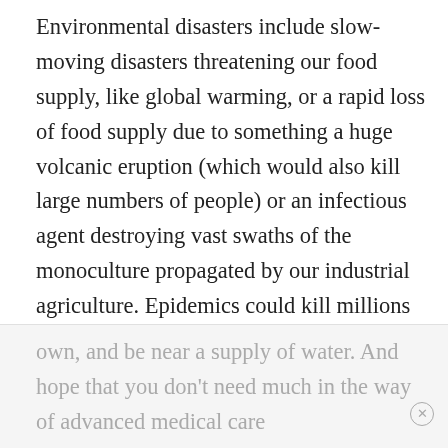Environmental disasters include slow-moving disasters threatening our food supply, like global warming, or a rapid loss of food supply due to something a huge volcanic eruption (which would also kill large numbers of people) or an infectious agent destroying vast swaths of the monoculture propagated by our industrial agriculture. Epidemics could kill millions easily (who knows what infectious agents lurk out there?). The real problem will be loss of food supplies and disruption in services (medical services, food delivery systems, etc.) caused by both loss of food and loss of people. That's why it's important to stock up on food, as well as grow your
own, and be near a supply of water. And hope that you don't need much in the way of advanced medical care